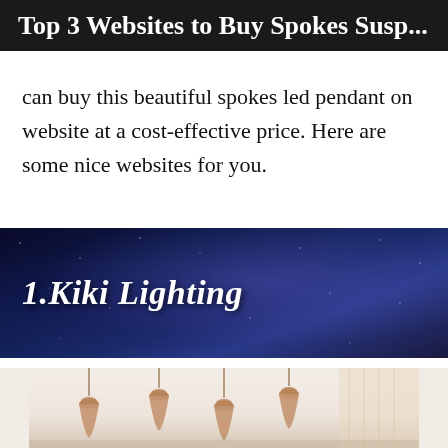Top 3 Websites to Buy Spokes Susp...
can buy this beautiful spokes led pendant on website at a cost-effective price. Here are some nice websites for you.
[Figure (photo): Dark night sky with stars and milky way galaxy background with bold italic white text reading '1.Kiki Lighting']
[Figure (photo): Interior room photo showing multiple pendant lights (rattan/wicker style) hanging from ceiling in a bright room with white walls and curtains]